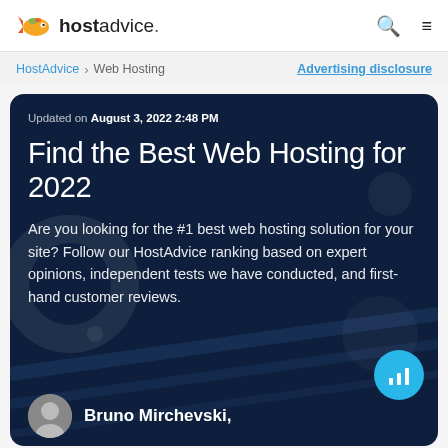hostadvice.
HostAdvice > Web Hosting    Advertising disclosure
Updated on August 3, 2022 2:48 PM
Find the Best Web Hosting for 2022
Are you looking for the #1 best web hosting solution for your site? Follow our HostAdvice ranking based on expert opinions, independent tests we have conducted, and first-hand customer reviews.
Bruno Mirchevski,